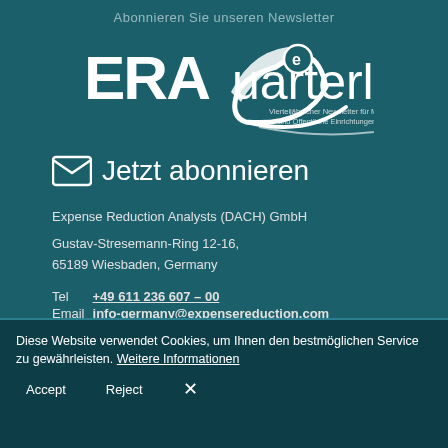Abonnieren Sie unseren Newsletter
[Figure (logo): ERA Quarterly logo - ERA text with a swoosh/leaf icon containing letter e, and 'Quarterly' text. Subtitle: Vierteljährlicher Newsletter für Mittelstand und Öffentliche Einrichtungen]
✉ Jetzt abonnieren
Expense Reduction Analysts (DACH) GmbH
Gustav-Stresemann-Ring 12-16, 65189 Wiesbaden, Germany
Tel  +49 611 236 607 – 00
Email  info-germany@expensereduction.com
Handelsregister Wiesbaden, HRB 22682
Diese Website verwendet Cookies, um Ihnen den bestmöglichen Service zu gewährleisten. Weitere Informationen
Accept  Reject  ×